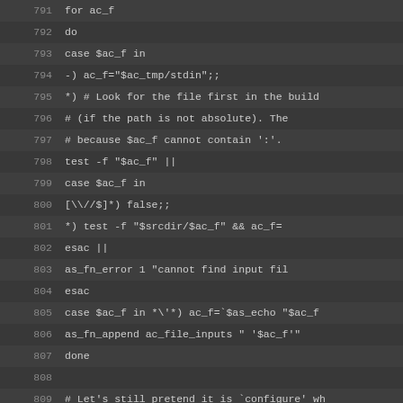[Figure (screenshot): Code editor screenshot showing shell script lines 791-818 with dark background and monospace font. Lines show a for loop with case statements, file path operations, and configure_input variable assignments.]